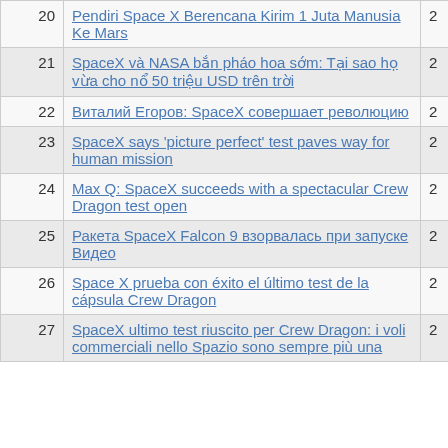| # | Title | Count |
| --- | --- | --- |
| 20 | Pendiri Space X Berencana Kirim 1 Juta Manusia Ke Mars | 2 |
| 21 | SpaceX và NASA bắn pháo hoa sớm: Tại sao họ vừa cho nổ 50 triệu USD trên trời | 2 |
| 22 | Виталий Егоров: SpaceX совершает революцию | 2 |
| 23 | SpaceX says 'picture perfect' test paves way for human mission | 2 |
| 24 | Max Q: SpaceX succeeds with a spectacular Crew Dragon test open | 2 |
| 25 | Ракета SpaceX Falcon 9 взорвалась при запуске Видео | 2 |
| 26 | Space X prueba con éxito el último test de la cápsula Crew Dragon | 2 |
| 27 | SpaceX ultimo test riuscito per Crew Dragon: i voli commerciali nello Spazio sono sempre più una | 2 |